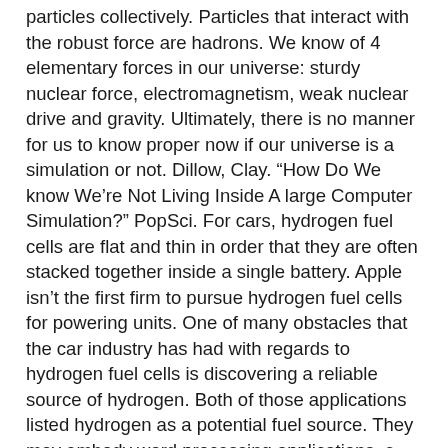particles collectively. Particles that interact with the robust force are hadrons. We know of 4 elementary forces in our universe: sturdy nuclear force, electromagnetism, weak nuclear drive and gravity. Ultimately, there is no manner for us to know proper now if our universe is a simulation or not. Dillow, Clay. "How Do We know We're Not Living Inside A large Computer Simulation?" PopSci. For cars, hydrogen fuel cells are flat and thin in order that they are often stacked together inside a single battery. Apple isn't the first firm to pursue hydrogen fuel cells for powering units. One of many obstacles that the car industry has had with regards to hydrogen fuel cells is discovering a reliable source of hydrogen. Both of those applications listed hydrogen as a potential fuel source. They may embody word processing applications, e-mail purchasers, venture-particular purposes and every thing in between. On high of this, a lot of today's units, particularly supercomputers, have more processing energy than the earliest fashions. However, it was a proof of concept that paved the best way for today's quantum computers.
That could shift if we discovered some approach to work